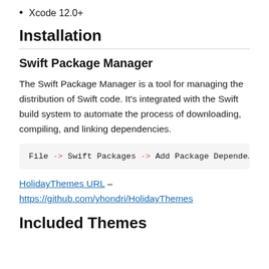Xcode 12.0+
Installation
Swift Package Manager
The Swift Package Manager is a tool for managing the distribution of Swift code. It's integrated with the Swift build system to automate the process of downloading, compiling, and linking dependencies.
File -> Swift Packages -> Add Package Depende…
HolidayThemes URL – https://github.com/yhondri/HolidayThemes
Included Themes